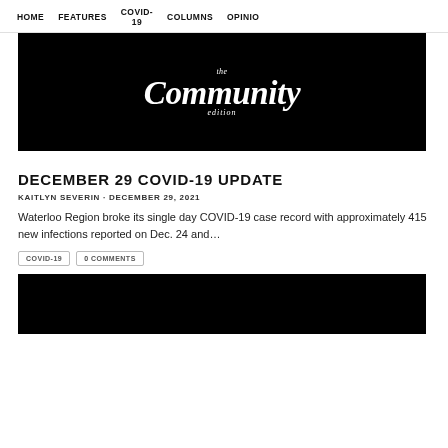HOME   FEATURES   COVID-19   COLUMNS   OPINION
[Figure (logo): The Community Edition logo — white script text on black background]
DECEMBER 29 COVID-19 UPDATE
KAITLYN SEVERIN · DECEMBER 29, 2021
Waterloo Region broke its single day COVID-19 case record with approximately 415 new infections reported on Dec. 24 and...
COVID-19   0 COMMENTS
[Figure (photo): Black image block, second article hero image]